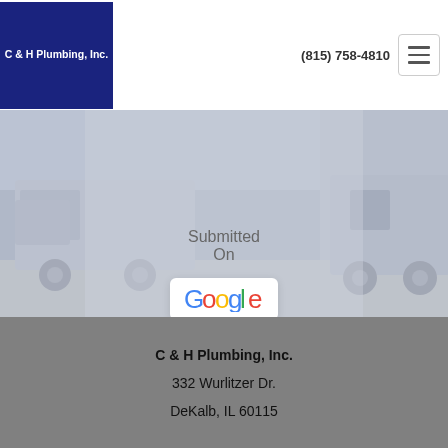[Figure (logo): C & H Plumbing, Inc. logo — white text on dark navy blue background]
(815) 758-4810
[Figure (other): Hamburger menu icon button with three horizontal lines]
Submitted
On
[Figure (logo): Google logo on white rounded card]
[Figure (photo): Faded background photo of plumbing service trucks parked outside a building]
C & H Plumbing, Inc.
332 Wurlitzer Dr.
DeKalb, IL 60115